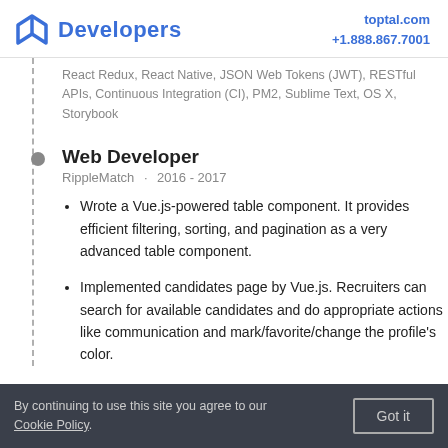Developers | toptal.com +1.888.867.7001
React Redux, React Native, JSON Web Tokens (JWT), RESTful APIs, Continuous Integration (CI), PM2, Sublime Text, OS X, Storybook
Web Developer
RippleMatch · 2016 - 2017
Wrote a Vue.js-powered table component. It provides efficient filtering, sorting, and pagination as a very advanced table component.
Implemented candidates page by Vue.js. Recruiters can search for available candidates and do appropriate actions like communication and mark/favorite/change the profile's color.
By continuing to use this site you agree to our Cookie Policy.